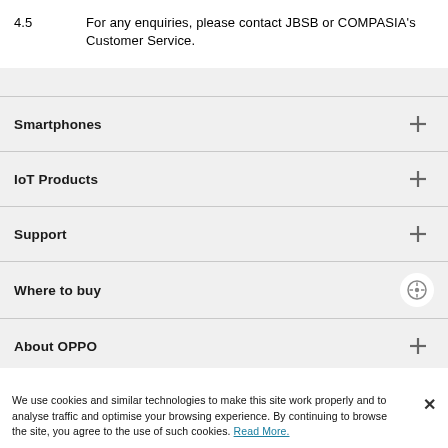4.5    For any enquiries, please contact JBSB or COMPASIA's Customer Service.
Smartphones
IoT Products
Support
Where to buy
About OPPO
We use cookies and similar technologies to make this site work properly and to analyse traffic and optimise your browsing experience. By continuing to browse the site, you agree to the use of such cookies. Read More.